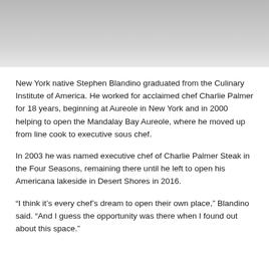[Figure (photo): Partial photo of a person in white clothing, cropped at top of page]
New York native Stephen Blandino graduated from the Culinary Institute of America. He worked for acclaimed chef Charlie Palmer for 18 years, beginning at Aureole in New York and in 2000 helping to open the Mandalay Bay Aureole, where he moved up from line cook to executive sous chef.
In 2003 he was named executive chef of Charlie Palmer Steak in the Four Seasons, remaining there until he left to open his Americana lakeside in Desert Shores in 2016.
“I think it’s every chef’s dream to open their own place,” Blandino said. “And I guess the opportunity was there when I found out about this space.”